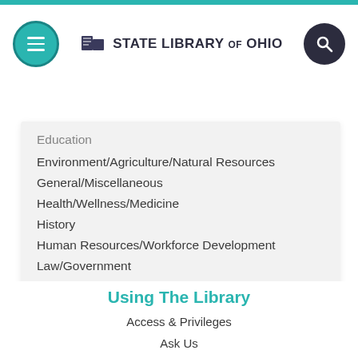STATE LIBRARY OF OHIO
Education
Environment/Agriculture/Natural Resources
General/Miscellaneous
Health/Wellness/Medicine
History
Human Resources/Workforce Development
Law/Government
Libraries/Archives
Management/Leadership
Military/Veterans
Using The Library
Access & Privileges
Ask Us